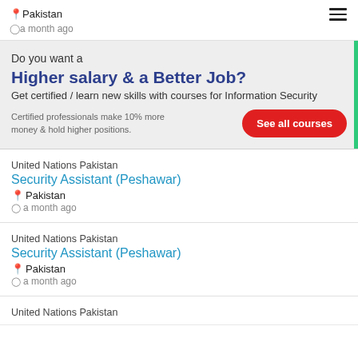📍Pakistan
🕐a month ago
[Figure (other): Hamburger menu icon (three horizontal lines)]
[Figure (infographic): Advertisement banner: Do you want a Higher salary & a Better Job? Get certified / learn new skills with courses for Information Security. Certified professionals make 10% more money & hold higher positions. See all courses button.]
United Nations Pakistan
Security Assistant (Peshawar)
📍Pakistan
🕐a month ago
United Nations Pakistan
Security Assistant (Peshawar)
📍Pakistan
🕐a month ago
United Nations Pakistan